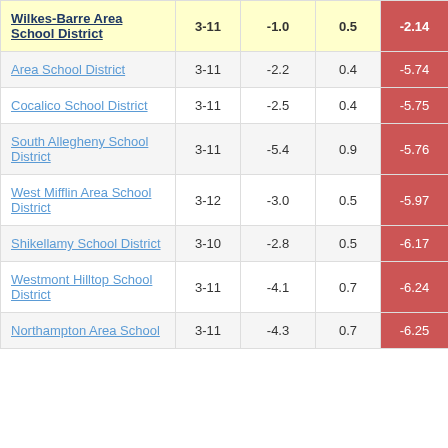| District | Grades | Col3 | Col4 | Score |
| --- | --- | --- | --- | --- |
| Wilkes-Barre Area School District | 3-11 | -1.0 | 0.5 | -2.14 |
| Area School District | 3-11 | -2.2 | 0.4 | -5.74 |
| Cocalico School District | 3-11 | -2.5 | 0.4 | -5.75 |
| South Allegheny School District | 3-11 | -5.4 | 0.9 | -5.76 |
| West Mifflin Area School District | 3-12 | -3.0 | 0.5 | -5.97 |
| Shikellamy School District | 3-10 | -2.8 | 0.5 | -6.17 |
| Westmont Hilltop School District | 3-11 | -4.1 | 0.7 | -6.24 |
| Northampton Area School | 3-11 | -4.3 | 0.7 | -6.25 |